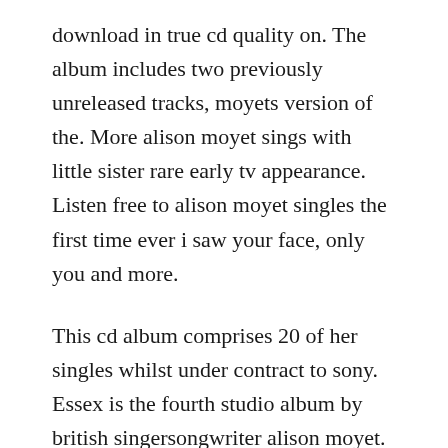download in true cd quality on. The album includes two previously unreleased tracks, moyets version of the. More alison moyet sings with little sister rare early tv appearance. Listen free to alison moyet singles the first time ever i saw your face, only you and more.
This cd album comprises 20 of her singles whilst under contract to sony. Essex is the fourth studio album by british singersongwriter alison moyet. She grew up in basildon, where she attended school. Ahead of the actual video for reassuring pinches, here is